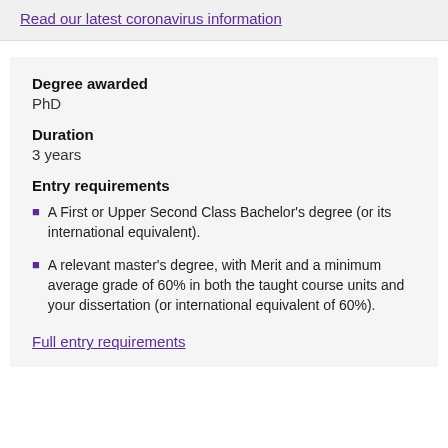Read our latest coronavirus information
Degree awarded
PhD
Duration
3 years
Entry requirements
A First or Upper Second Class Bachelor's degree (or its international equivalent).
A relevant master's degree, with Merit and a minimum average grade of 60% in both the taught course units and your dissertation (or international equivalent of 60%).
Full entry requirements